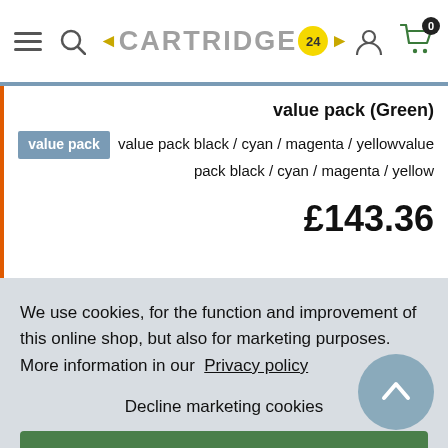[Figure (screenshot): Cartridge24 website header with hamburger menu, search icon, logo, user icon, and shopping cart with 0 items]
value pack (Green)
value pack  value pack black / cyan / magenta / yellowvalue pack black / cyan / magenta / yellow
£143.36
We use cookies, for the function and improvement of this online shop, but also for marketing purposes. More information in our  Privacy policy
Decline marketing cookies
Allow all cookies ✓